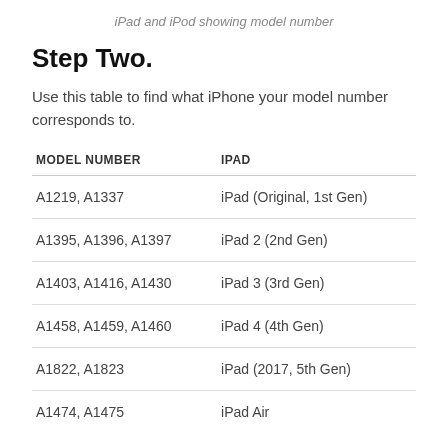iPad and iPod showing model number
Step Two.
Use this table to find what iPhone your model number corresponds to.
| MODEL NUMBER | IPAD |
| --- | --- |
| A1219, A1337 | iPad (Original, 1st Gen) |
| A1395, A1396, A1397 | iPad 2 (2nd Gen) |
| A1403, A1416, A1430 | iPad 3 (3rd Gen) |
| A1458, A1459, A1460 | iPad 4 (4th Gen) |
| A1822, A1823 | iPad (2017, 5th Gen) |
| A1474, A1475 | iPad Air |